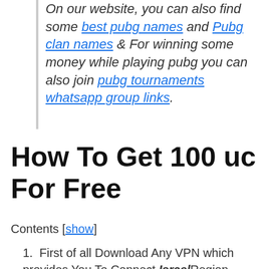On our website, you can also find some best pubg names and Pubg clan names & For winning some money while playing pubg you can also join pubg tournaments whatsapp group links.
How To Get 100 uc For Free
Contents [show]
First of all Download Any VPN which provides You To Connect Israel Region. (VyprVPN Recommended)